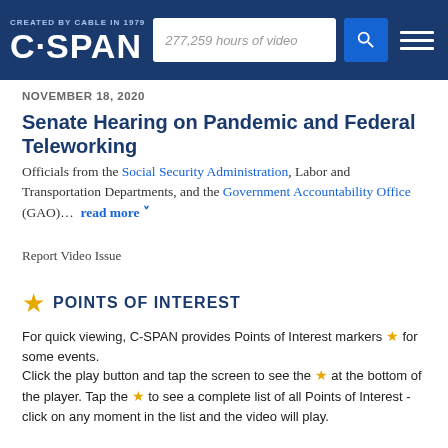CREATED BY CABLE IN 1979 C-SPAN | 277,259 hours of video
NOVEMBER 18, 2020
Senate Hearing on Pandemic and Federal Teleworking
Officials from the Social Security Administration, Labor and Transportation Departments, and the Government Accountability Office (GAO)... read more
Report Video Issue
POINTS OF INTEREST
For quick viewing, C-SPAN provides Points of Interest markers ★ for some events.
Click the play button and tap the screen to see the ★ at the bottom of the player. Tap the ★ to see a complete list of all Points of Interest - click on any moment in the list and the video will play.